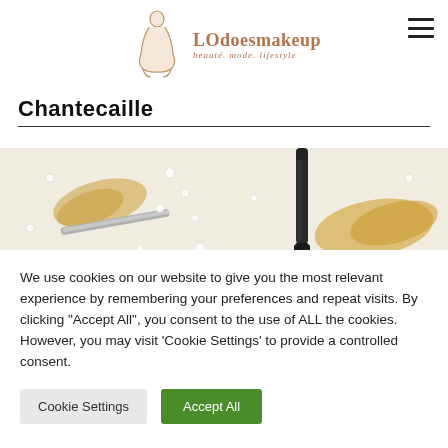[Figure (logo): LOdoesmakeup blog logo with line-art figure of a woman and text 'LOdoesmakeup beaute. mode. lifestyle']
Chantecaille
[Figure (photo): Two side-by-side beauty/makeup photos showing gold ribbon, small crystals/pearls and makeup tools on white background]
We use cookies on our website to give you the most relevant experience by remembering your preferences and repeat visits. By clicking "Accept All", you consent to the use of ALL the cookies. However, you may visit 'Cookie Settings' to provide a controlled consent.
Cookie Settings   Accept All